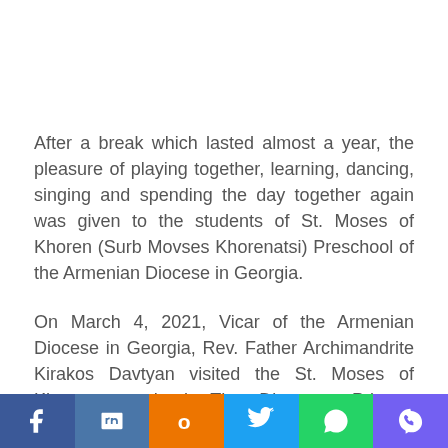After a break which lasted almost a year, the pleasure of playing together, learning, dancing, singing and spending the day together again was given to the students of St. Moses of Khoren (Surb Movses Khorenatsi) Preschool of the Armenian Diocese in Georgia.
On March 4, 2021, Vicar of the Armenian Diocese in Georgia, Rev. Father Archimandrite Kirakos Davtyan visited the St. Moses of Khoren preschool. The Diocesan Primate congratulated the teachers on the